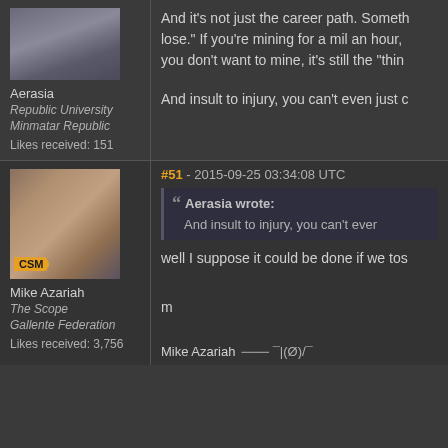[Figure (screenshot): Forum thread screenshot showing two posts from a game forum. First post by Aerasia from Republic University, Minmatar Republic, Likes received: 151. Second post #51 by Mike Azariah from The Scope, Gallente Federation, Likes received: 3,756, with CSM badge. The second post quotes Aerasia and replies about mining.]
Aerasia
Republic University
Minmatar Republic
Likes received: 151
And it's not just the career path. Someth… lose." If you're mining for a mil an hour, you don't want to mine, it's still the "thin…
And insult to injury, you can't even just c…
#51 - 2015-09-25 03:34:08 UTC
Aerasia wrote:
And insult to injury, you can't ever…
Mike Azariah
The Scope
Gallente Federation
Likes received: 3,756
well I suppose it could be done if we tos…
m
Mike Azariah